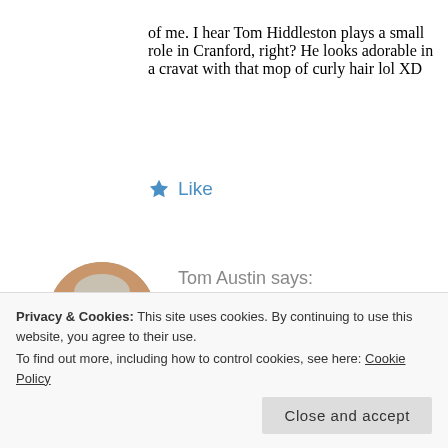of me. I hear Tom Hiddleston plays a small role in Cranford, right? He looks adorable in a cravat with that mop of curly hair lol XD
★ Like
Tom Austin says:
June 24, 2019 at 4:53 pm
Couldn't help but notice how organized your summer seems to. Births seem to take us by surprise. Don't be surprised if some of the time you plan to spend on
Privacy & Cookies: This site uses cookies. By continuing to use this website, you agree to their use.
To find out more, including how to control cookies, see here: Cookie Policy
Close and accept
rare) You can try and control your life